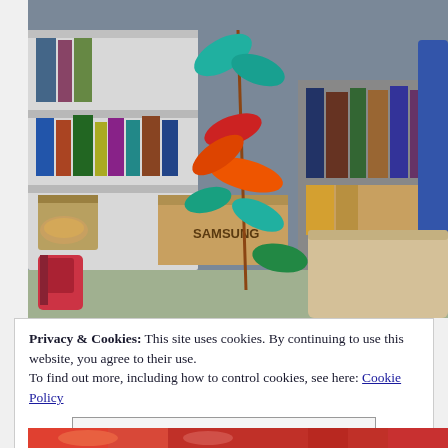[Figure (photo): A classroom photo showing a colorful pinwheel toy (teal, red, orange paper pieces) on a stick in the foreground, with bookshelves filled with books and a cardboard box in the background, and a backpack on the floor. A desk is visible in the lower right.]
Privacy & Cookies: This site uses cookies. By continuing to use this website, you agree to their use.
To find out more, including how to control cookies, see here: Cookie Policy
Close and accept
[Figure (photo): Bottom strip of a photo showing colorful red and decorative objects, partially visible.]